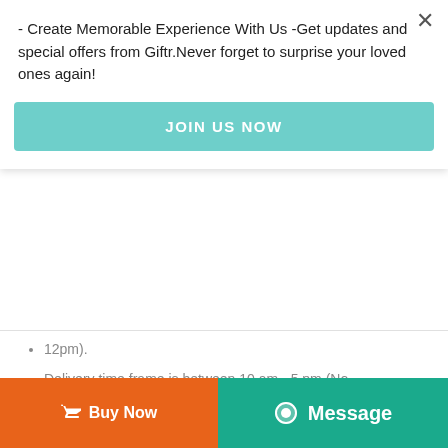- Create Memorable Experience With Us -Get updates and special offers from Giftr.Never forget to surprise your loved ones again!
JOIN US NOW
12pm).
Delivery time frame is between 10 am - 5 pm (No specific timing allowed).
Reviews
Buy Now
Message